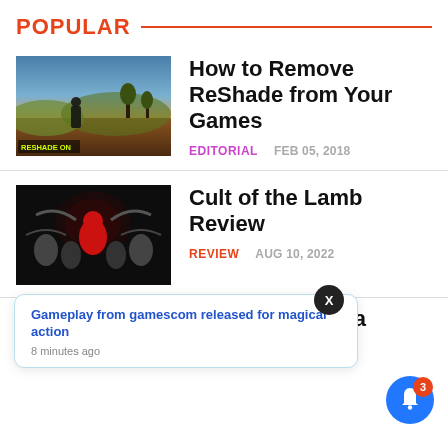POPULAR
How to Remove ReShade from Your Games
EDITORIAL   FEB 05, 2018
[Figure (photo): Screenshot of game with ReShade ON overlay]
Cult of the Lamb Review
REVIEW   AUG 10, 2022
[Figure (photo): Cult of the Lamb game artwork]
Gameplay from gamescom released for magical action
8 minutes ago
Wing Series on a